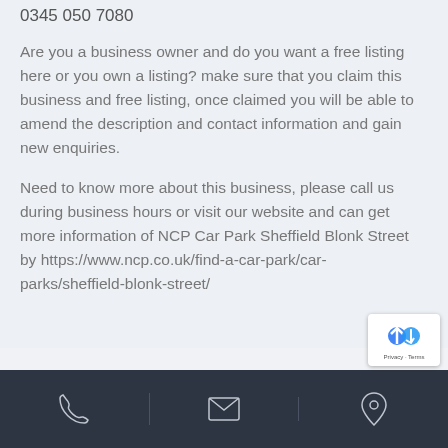0345 050 7080
Are you a business owner and do you want a free listing here or you own a listing? make sure that you claim this business and free listing, once claimed you will be able to amend the description and contact information and gain new enquiries.
Need to know more about this business, please call us during business hours or visit our website and can get more information of NCP Car Park Sheffield Blonk Street by https://www.ncp.co.uk/find-a-car-park/car-parks/sheffield-blonk-street/